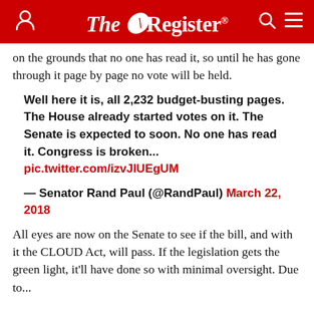The Register
on the grounds that no one has read it, so until he has gone through it page by page no vote will be held.
Well here it is, all 2,232 budget-busting pages. The House already started votes on it. The Senate is expected to soon. No one has read it. Congress is broken... pic.twitter.com/izvJlUEgUM
— Senator Rand Paul (@RandPaul) March 22, 2018
All eyes are now on the Senate to see if the bill, and with it the CLOUD Act, will pass. If the legislation gets the green light, it'll have done so with minimal oversight. Due to...